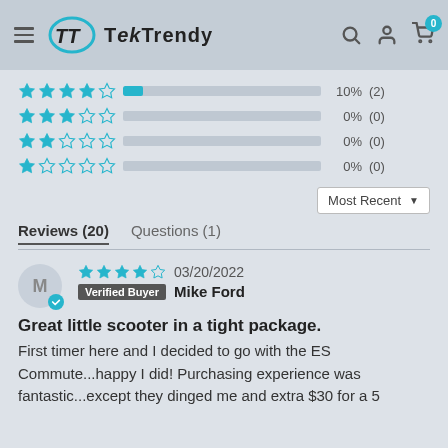TekTrendy
[Figure (infographic): Star rating breakdown bars: 4-star 10%(2), 3-star 0%(0), 2-star 0%(0), 1-star 0%(0)]
Most Recent
Reviews (20)   Questions (1)
03/20/2022
Verified Buyer  Mike Ford
Great little scooter in a tight package.
First timer here and I decided to go with the ES Commute...happy I did! Purchasing experience was fantastic...except they dinged me and extra $30 for a 5